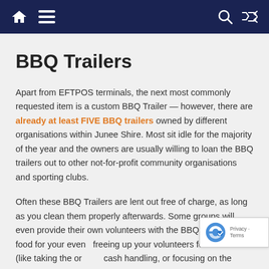Navigation header with home, menu, search, and shuffle icons
BBQ Trailers
Apart from EFTPOS terminals, the next most commonly requested item is a custom BBQ Trailer — however, there are already at least FIVE BBQ trailers owned by different organisations within Junee Shire. Most sit idle for the majority of the year and the owners are usually willing to loan the BBQ trailers out to other not-for-profit community organisations and sporting clubs.
Often these BBQ Trailers are lent out free of charge, as long as you clean them properly afterwards. Some groups will even provide their own volunteers with the BBQ to cook the food for your event, freeing up your volunteers for other tasks (like taking the orders, cash handling, or focusing on the other aspects of your event).